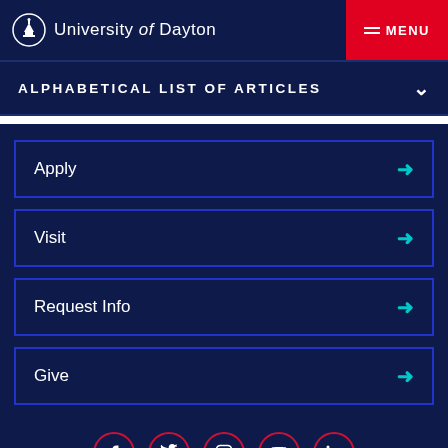University of Dayton
ALPHABETICAL LIST OF ARTICLES
Apply →
Visit →
Request Info →
Give →
[Figure (other): Social media icons: Facebook, Twitter, Instagram, YouTube, LinkedIn in red-bordered circles]